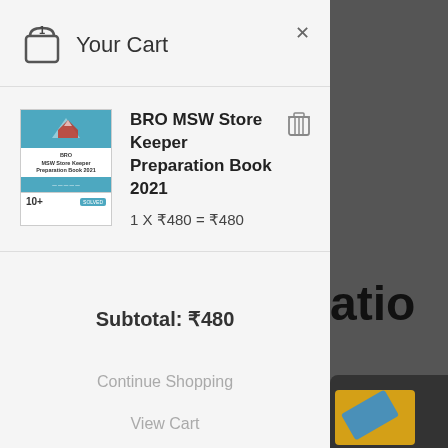Your Cart
[Figure (screenshot): Book cover thumbnail for BRO MSW Store Keeper Preparation Book 2021, teal/white design with mountain logo, '10+ SOLVED' label]
BRO MSW Store Keeper Preparation Book 2021
1 X ₹480 = ₹480
Subtotal: ₹480
Continue Shopping
View Cart
Checkout